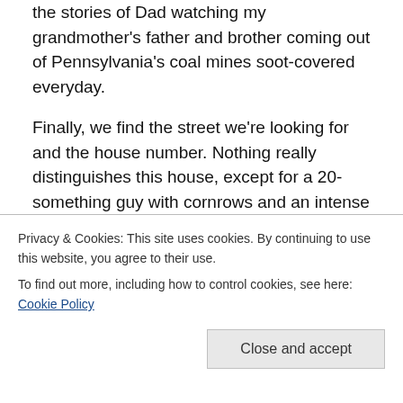the stories of Dad watching my grandmother's father and brother coming out of Pennsylvania's coal mines soot-covered everyday.
Finally, we find the street we're looking for and the house number. Nothing really distinguishes this house, except for a 20-something guy with cornrows and an intense look about him who opens the gate and goes inside.  We follow him and knock on the gate. He opens and my dad asks if this is a temple. It is, and we're led inside to wait at the side door of what looks to be a family home. A middle-aged women comes out and introduces herself. My Dad…
Privacy & Cookies: This site uses cookies. By continuing to use this website, you agree to their use.
To find out more, including how to control cookies, see here: Cookie Policy
women's son) follows us inside.